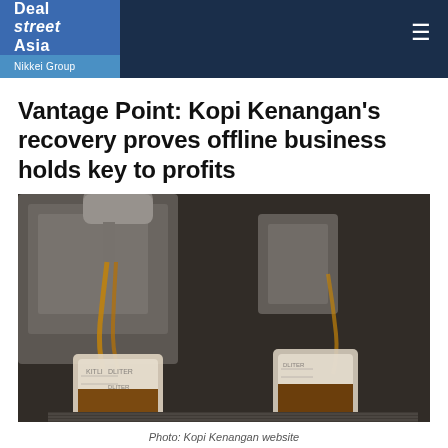Deal street Asia | Nikkei Group
Vantage Point: Kopi Kenangan's recovery proves offline business holds key to profits
[Figure (photo): Close-up photo of espresso being poured from a machine into two small glass measuring cups on a metal grate, with coffee machine equipment visible in the background.]
Photo: Kopi Kenangan website